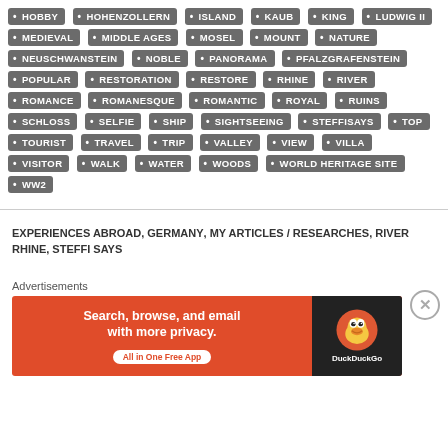HOBBY, HOHENZOLLERN, ISLAND, KAUB, KING, LUDWIG II, MEDIEVAL, MIDDLE AGES, MOSEL, MOUNT, NATURE, NEUSCHWANSTEIN, NOBLE, PANORAMA, PFALZGRAFENSTEIN, POPULAR, RESTORATION, RESTORE, RHINE, RIVER, ROMANCE, ROMANESQUE, ROMANTIC, ROYAL, RUINS, SCHLOSS, SELFIE, SHIP, SIGHTSEEING, STEFFISAYS, TOP, TOURIST, TRAVEL, TRIP, VALLEY, VIEW, VILLA, VISITOR, WALK, WATER, WOODS, WORLD HERITAGE SITE, WW2
EXPERIENCES ABROAD, GERMANY, MY ARTICLES / RESEARCHES, RIVER RHINE, STEFFI SAYS
[Figure (other): DuckDuckGo advertisement banner: Search, browse, and email with more privacy. All in One Free App. DuckDuckGo logo.]